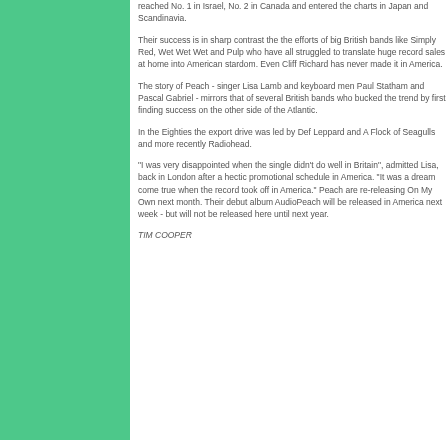reached No. 1 in Israel, No. 2 in Canada and entered the charts in Japan and Scandinavia.
Their success is in sharp contrast the the efforts of big British bands like Simply Red, Wet Wet Wet and Pulp who have all struggled to translate huge record sales at home into American stardom. Even Cliff Richard has never made it in America.
The story of Peach - singer Lisa Lamb and keyboard men Paul Statham and Pascal Gabriel - mirrors that of several British bands who bucked the trend by first finding success on the other side of the Atlantic.
In the Eighties the export drive was led by Def Leppard and A Flock of Seagulls and more recently Radiohead.
"I was very disappointed when the single didn't do well in Britain", admitted Lisa, back in London after a hectic promotional schedule in America. "It was a dream come true when the record took off in America." Peach are re-releasing On My Own next month. Their debut album AudioPeach will be released in America next week - but will not be released here until next year.
TIM COOPER